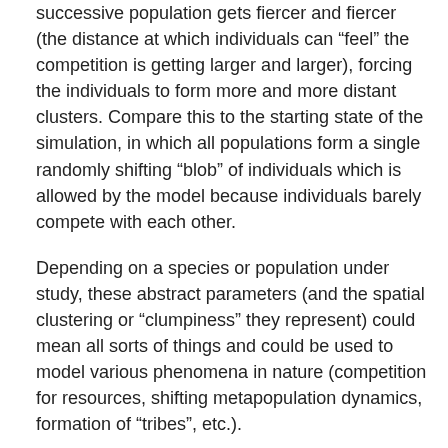successive population gets fiercer and fiercer (the distance at which individuals can “feel” the competition is getting larger and larger), forcing the individuals to form more and more distant clusters. Compare this to the starting state of the simulation, in which all populations form a single randomly shifting “blob” of individuals which is allowed by the model because individuals barely compete with each other.
Depending on a species or population under study, these abstract parameters (and the spatial clustering or “clumpiness” they represent) could mean all sorts of things and could be used to model various phenomena in nature (competition for resources, shifting metapopulation dynamics, formation of “tribes”, etc.).
It needs to be said that unlike the spatial population dynamics functionality described in the main tutorial, which is a unique feature of slendr, the example in this vignette could be reproduced in pure SLiM using vanilla Eidos code. However, I think it is fair to say that the slendr R code is much more flexible and easier to tweak and extend towards much more complex scenarios. Again, as mentioned several times throughout the documentation, this is another good example of how the simple slendr R interface lets you focus on the difficult part of modeling (specifying spatiotemporal model dynamics), get immediate visual feedback during model